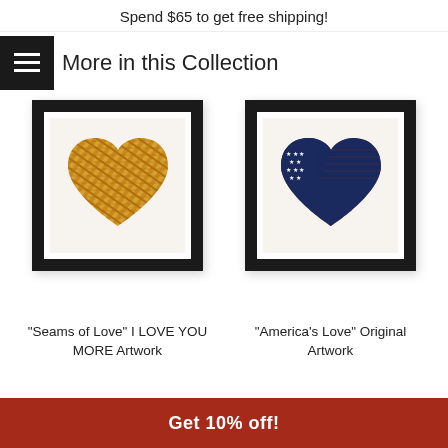Spend $65 to get free shipping!
More in this Collection
[Figure (photo): Framed artwork with a heart shape filled with diagonal orange/golden quilt-seam pattern on a white mat, black frame]
[Figure (photo): Framed artwork with a heart shape styled as an American flag (navy blue with stars in upper left, red and tan stripes) on a white mat, black frame]
"Seams of Love" I LOVE YOU MORE Artwork
"America's Love" Original Artwork
Get 10% off!